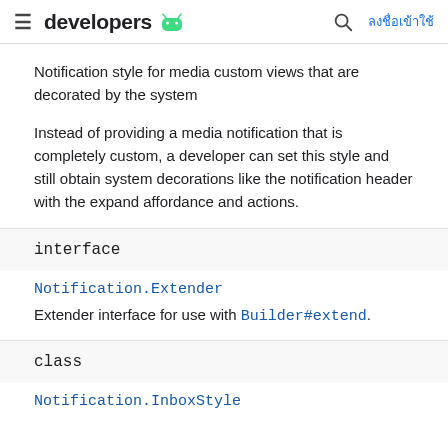developers [android logo] [search] ลงชื่อเข้าใช้
Notification style for media custom views that are decorated by the system
Instead of providing a media notification that is completely custom, a developer can set this style and still obtain system decorations like the notification header with the expand affordance and actions.
interface
Notification.Extender
Extender interface for use with Builder#extend.
class
Notification.InboxStyle